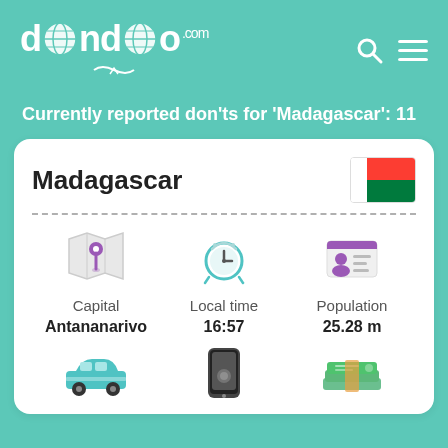[Figure (logo): dondoo.com logo with globe icon and bird/arrow below, white text on teal background]
Currently reported don'ts for 'Madagascar': 11
Madagascar
[Figure (illustration): Madagascar flag - white vertical stripe on left, red and green horizontal stripes on right]
[Figure (infographic): Three info columns: Capital with map pin icon, Local time with alarm clock icon, Population with ID card icon. Capital: Antananarivo, Local time: 16:57, Population: 25.28 m]
[Figure (infographic): Three icons at bottom: car icon (teal), smartphone icon (dark), money/cash icon (teal)]